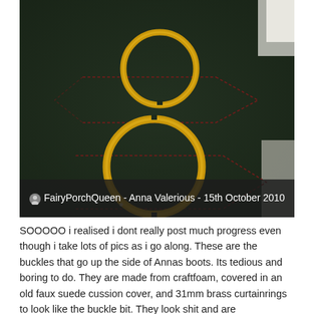[Figure (photo): Close-up photo of dark green fabric (faux suede) with red dashed stitching lines forming elongated diamond/leaf shapes, and two gold brass curtain rings placed on the fabric — one smaller ring near the top center and one larger ring in the lower center area.]
FairyPorchQueen - Anna Valerious - 15th October 2010
SOOOOO i realised i dont really post much progress even though i take lots of pics as i go along. These are the buckles that go up the side of Annas boots. Its tedious and boring to do. They are made from craftfoam, covered in an old faux suede cussion cover, and 31mm brass curtainrings to look like the buckle bit. They look shit and are